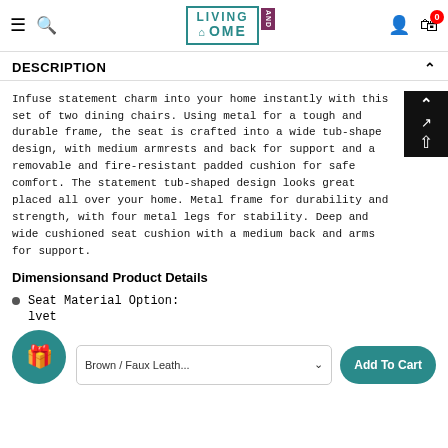Living Home AND — navigation bar with hamburger, search, logo, user icon, cart (0)
DESCRIPTION
Infuse statement charm into your home instantly with this set of two dining chairs. Using metal for a tough and durable frame, the seat is crafted into a wide tub-shape design, with medium armrests and back for support and a removable and fire-resistant padded cushion for safe comfort. The statement tub-shaped design looks great placed all over your home. Metal frame for durability and strength, with four metal legs for stability. Deep and wide cushioned seat cushion with a medium back and arms for support.
Dimensionsand Product Details
Seat Material Option:
lvet
Brown / Faux Leath...
Add To Cart